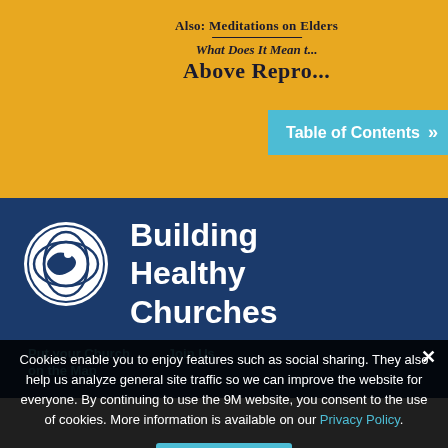[Figure (screenshot): Yellow background section of a magazine or book cover showing 'Also: Meditations on Elders' and 'What Does It Mean to be Above Repro...' text with a 'Table of Contents' button]
Also: Meditations on Elders
What Does It Mean t...
Above Repro...
Table of Contents »
[Figure (logo): Globe/world logo in white circle on dark blue background]
Building Healthy Churches
Put your Church on the Map
Join Us
Cookies enable you to enjoy features such as social sharing. They also help us analyze general site traffic so we can improve the website for everyone. By continuing to use the 9M website, you consent to the use of cookies. More information is available on our Privacy Policy.
Súhlasím
Copyright © 2023 9M... Privacy Policy
WebsiteDesign by zoopbox®